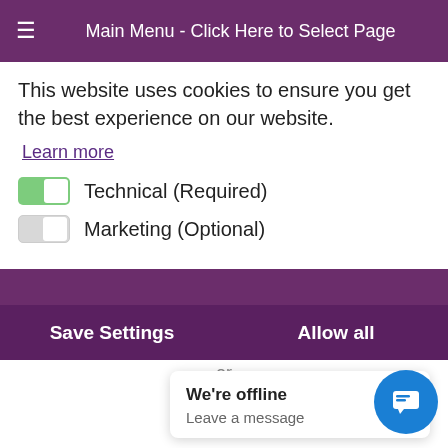Main Menu - Click Here to Select Page
This website uses cookies to ensure you get the best experience on our website.
Learn more
Technical (Required)
Marketing (Optional)
Save Settings    Allow all
or de r, it wa
We're offline
Leave a message